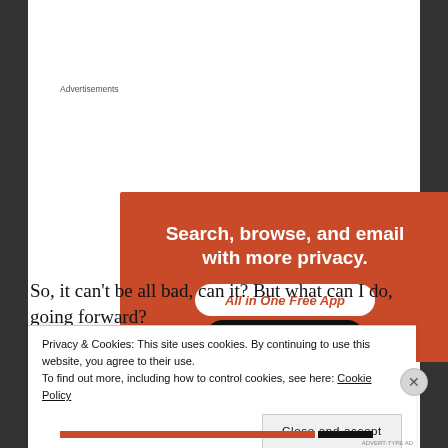Advertisements
[Figure (illustration): Orange advertisement banner with white bold text: 'Search, browse, and email with more privacy.' with a white rounded button labeled 'All in One Free App' and a phone silhouette at the bottom.]
So, it can’t be all bad, can it? But what can I do, going forward?
Privacy & Cookies: This site uses cookies. By continuing to use this website, you agree to their use.
To find out more, including how to control cookies, see here: Cookie Policy
Close and accept